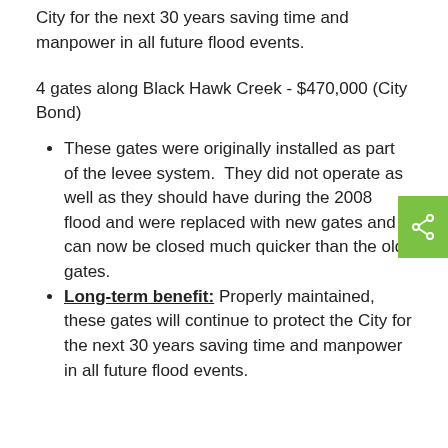City for the next 30 years saving time and manpower in all future flood events.
4 gates along Black Hawk Creek - $470,000 (City Bond)
These gates were originally installed as part of the levee system. They did not operate as well as they should have during the 2008 flood and were replaced with new gates and can now be closed much quicker than the old gates.
Long-term benefit: Properly maintained, these gates will continue to protect the City for the next 30 years saving time and manpower in all future flood events.